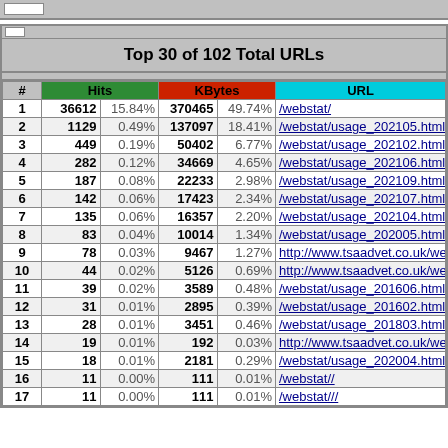Top 30 of 102 Total URLs
| # | Hits |  | KBytes |  | URL |
| --- | --- | --- | --- | --- | --- |
| 1 | 36612 | 15.84% | 370465 | 49.74% | /webstat/ |
| 2 | 1129 | 0.49% | 137097 | 18.41% | /webstat/usage_202105.html |
| 3 | 449 | 0.19% | 50402 | 6.77% | /webstat/usage_202102.html |
| 4 | 282 | 0.12% | 34669 | 4.65% | /webstat/usage_202106.html |
| 5 | 187 | 0.08% | 22233 | 2.98% | /webstat/usage_202109.html |
| 6 | 142 | 0.06% | 17423 | 2.34% | /webstat/usage_202107.html |
| 7 | 135 | 0.06% | 16357 | 2.20% | /webstat/usage_202104.html |
| 8 | 83 | 0.04% | 10014 | 1.34% | /webstat/usage_202005.html |
| 9 | 78 | 0.03% | 9467 | 1.27% | http://www.tsaadvet.co.uk/webstat/usage_2021… |
| 10 | 44 | 0.02% | 5126 | 0.69% | http://www.tsaadvet.co.uk/webstat/usage_2021… |
| 11 | 39 | 0.02% | 3589 | 0.48% | /webstat/usage_201606.html |
| 12 | 31 | 0.01% | 2895 | 0.39% | /webstat/usage_201602.html |
| 13 | 28 | 0.01% | 3451 | 0.46% | /webstat/usage_201803.html |
| 14 | 19 | 0.01% | 192 | 0.03% | http://www.tsaadvet.co.uk/webstat/ |
| 15 | 18 | 0.01% | 2181 | 0.29% | /webstat/usage_202004.html |
| 16 | 11 | 0.00% | 111 | 0.01% | /webstat// |
| 17 | 11 | 0.00% | 111 | 0.01% | /webstat/// |